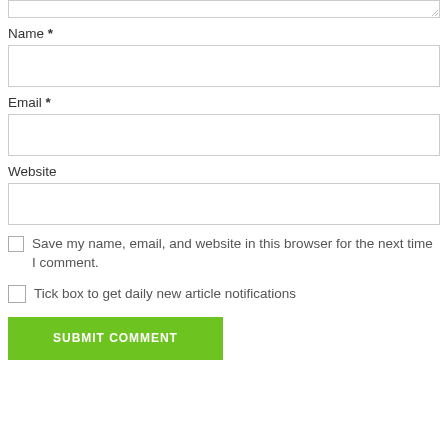Name *
Email *
Website
Save my name, email, and website in this browser for the next time I comment.
Tick box to get daily new article notifications
SUBMIT COMMENT